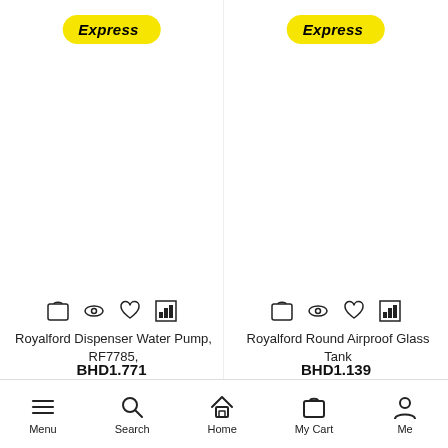[Figure (screenshot): Express delivery badge - yellow pill-shaped label with italic bold text 'Express' on left product card]
[Figure (screenshot): Express delivery badge - yellow pill-shaped label with italic bold text 'Express' on right product card]
Royalford Dispenser Water Pump, RF7785,
BHD1.771
Royalford Round Airproof Glass Tank
BHD1.139
Menu  Search  Home  My Cart  Me